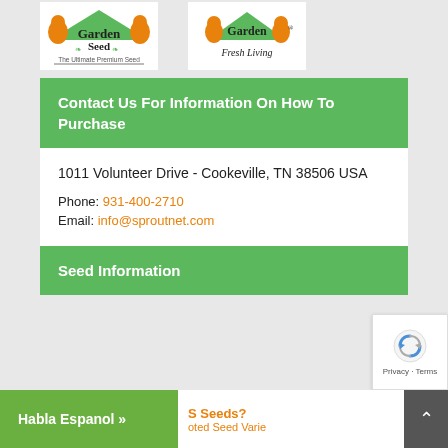[Figure (logo): Garden Seed logo - The Ultimate Premium Seed]
[Figure (logo): Garden Fresh Living logo]
Contact Us For Information On How To Purchase
1011 Volunteer Drive - Cookeville, TN 38506 USA
Phone: 931-400-2710
Email: info@sproutnet.com
Seed Information
Habla Espanol »
S Seeds?
oted Seed Varie